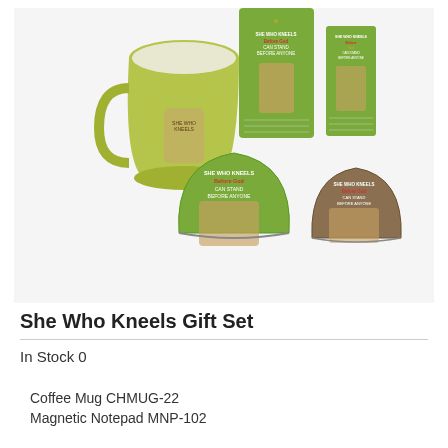[Figure (photo): Product photo of She Who Kneels Gift Set including a green coffee mug, magnetic notepad, and two cosmetic bags with a woman kneeling in worship design on green and brown background]
She Who Kneels Gift Set
In Stock 0
Coffee Mug CHMUG-22
Magnetic Notepad MNP-102